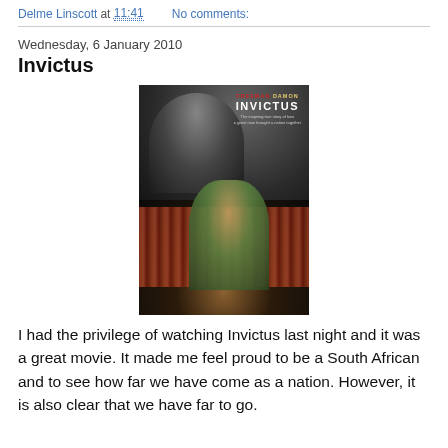Delme Linscott at 11:41   No comments:
Wednesday, 6 January 2010
Invictus
[Figure (photo): Movie poster for Invictus featuring FREEMAN DAMON above the title INVICTUS, with two figures — one seen from behind (older man) and one facing forward (younger man in green rugby jersey) — against a crowd background.]
I had the privilege of watching Invictus last night and it was a great movie. It made me feel proud to be a South African and to see how far we have come as a nation. However, it is also clear that we have far to go.